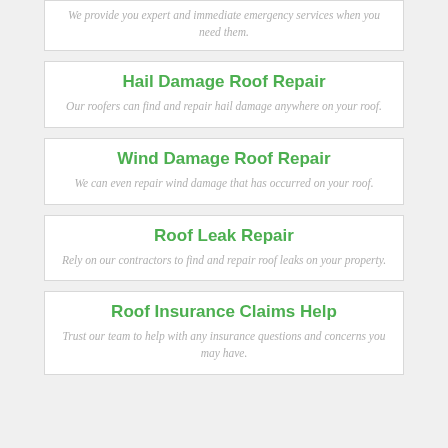We provide you expert and immediate emergency services when you need them.
Hail Damage Roof Repair
Our roofers can find and repair hail damage anywhere on your roof.
Wind Damage Roof Repair
We can even repair wind damage that has occurred on your roof.
Roof Leak Repair
Rely on our contractors to find and repair roof leaks on your property.
Roof Insurance Claims Help
Trust our team to help with any insurance questions and concerns you may have.